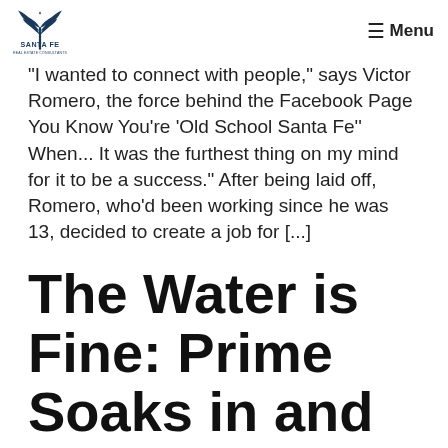Santa Fe Real Estate Consultants | Menu
"I wanted to connect with people," says Victor Romero, the force behind the Facebook Page You Know You're 'Old School Santa Fe'' When... It was the furthest thing on my mind for it to be a success." After being laid off, Romero, who'd been working since he was 13, decided to create a job for [...]
The Water is Fine: Prime Soaks in and around Santa Fe